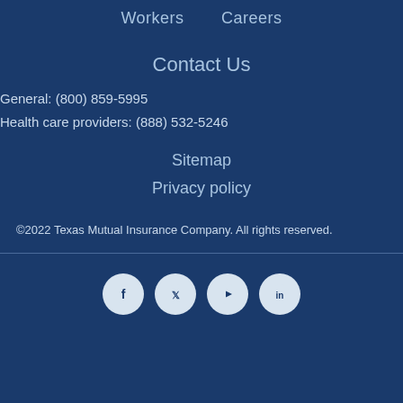Workers    Careers
Contact Us
General: (800) 859-5995
Health care providers: (888) 532-5246
Sitemap
Privacy policy
©2022 Texas Mutual Insurance Company. All rights reserved.
[Figure (illustration): Social media icons: Facebook, Twitter, YouTube, LinkedIn — white icons on light blue circular backgrounds on dark navy footer bar]